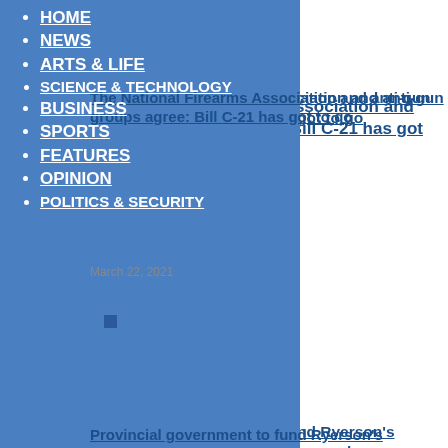HOME
NEWS
ARTS & LIFE
SCIENCE & TECHNOLOGY
BUSINESS
SPORTS
FEATURES
OPINION
POLITICS & SECURITY
The National Firearms Association and anti-gun groups agree: Bill C-21 has got to go
March 22, 2021
Provincial government to fund Ryerson's Brampton medical school proposal
March 25, 2021
Students and recent graduates facing high unemployment rate as pandemic continues to freeze the market